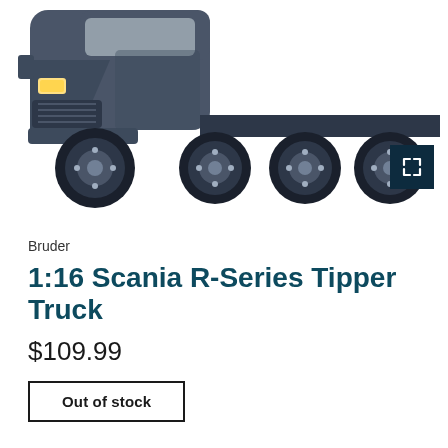[Figure (photo): Partial view of a dark gray/slate Bruder 1:16 Scania R-Series Tipper Truck model toy, showing the front cab area and multiple large tires/axles against a white background. A dark expand/fullscreen button is visible in the lower right of the image area.]
Bruder
1:16 Scania R-Series Tipper Truck
$109.99
Out of stock